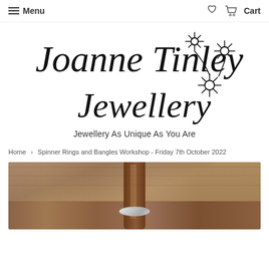Menu | Cart
[Figure (logo): Joanne Tinley Jewellery handwritten logo with daisy flower illustrations]
Jewellery As Unique As You Are
Home > Spinner Rings and Bangles Workshop - Friday 7th October 2022
[Figure (photo): Photo of a wooden mandrel ring sizer tool with a silver spinner ring on a wooden surface]